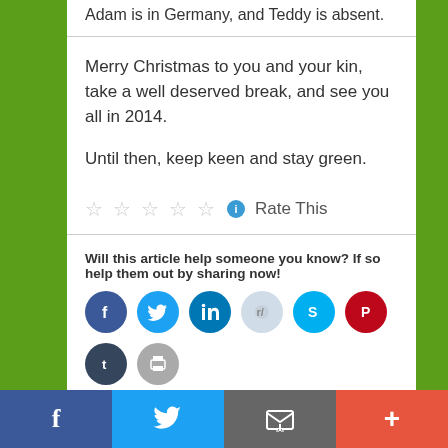Adam is in Germany, and Teddy is absent.
Merry Christmas to you and your kin, take a well deserved break, and see you all in 2014.
Until then, keep keen and stay green.
Rate This
Will this article help someone you know? If so help them out by sharing now!
[Figure (infographic): Row of social sharing icon buttons: Facebook, Twitter, LinkedIn, Reddit, Skype, Pinterest, Tumblr, Print, Email, More]
Facebook | Twitter | Email/Subscribe | More sharing options footer bar